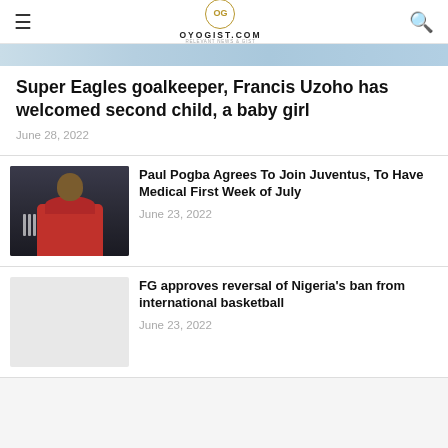OYOGIST.COM
[Figure (photo): Top cropped image banner]
Super Eagles goalkeeper, Francis Uzoho has welcomed second child, a baby girl
June 28, 2022
[Figure (photo): Paul Pogba in Manchester United red jersey]
Paul Pogba Agrees To Join Juventus, To Have Medical First Week of July
June 23, 2022
FG approves reversal of Nigeria's ban from international basketball
June 23, 2022